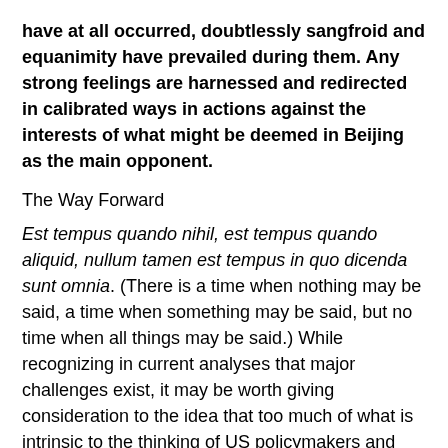have at all occurred, doubtlessly sangfroid and equanimity have prevailed during them. Any strong feelings are harnessed and redirected in calibrated ways in actions against the interests of what might be deemed in Beijing as the main opponent.
The Way Forward
Est tempus quando nihil, est tempus quando aliquid, nullum tamen est tempus in quo dicenda sunt omnia. (There is a time when nothing may be said, a time when something may be said, but no time when all things may be said.) While recognizing in current analyses that major challenges exist, it may be worth giving consideration to the idea that too much of what is intrinsic to the thinking of US policymakers and warplanners–at least on the surface for that cadre–is being projected on Xi, the Communist